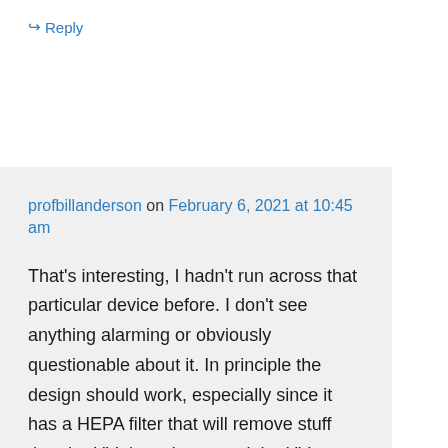↪ Reply
profbillanderson on February 6, 2021 at 10:45 am
That's interesting, I hadn't run across that particular device before. I don't see anything alarming or obviously questionable about it. In principle the design should work, especially since it has a HEPA filter that will remove stuff that the UV doesn't get, and the UV portion is sealed within the device so it should be safe from a UV exposure point of view. This is not an endorsement, but at first glance I